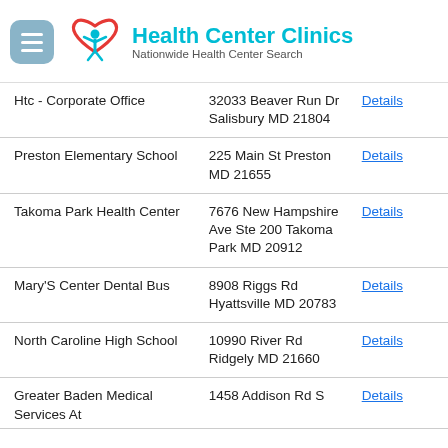[Figure (logo): Health Center Clinics logo with heart and person icon, teal colored. Tagline: Nationwide Health Center Search]
| Name | Address | Link |
| --- | --- | --- |
| Htc - Corporate Office | 32033 Beaver Run Dr Salisbury MD 21804 | Details |
| Preston Elementary School | 225 Main St Preston MD 21655 | Details |
| Takoma Park Health Center | 7676 New Hampshire Ave Ste 200 Takoma Park MD 20912 | Details |
| Mary'S Center Dental Bus | 8908 Riggs Rd Hyattsville MD 20783 | Details |
| North Caroline High School | 10990 River Rd Ridgely MD 21660 | Details |
| Greater Baden Medical Services At | 1458 Addison Rd S | Details |